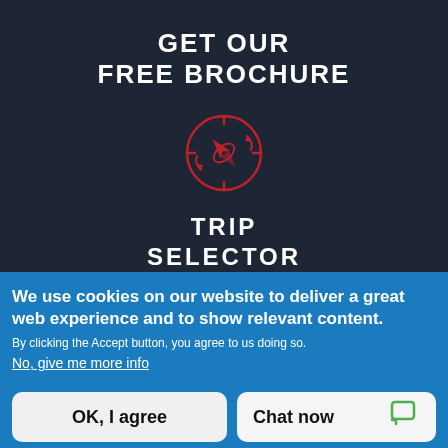GET OUR FREE BROCHURE
[Figure (illustration): Red compass/navigation icon — circular outline with inner compass needle/arrow shape]
TRIP SELECTOR
We use cookies on our website to deliver a great web experience and to show relevant content.
By clicking the Accept button, you agree to us doing so.
No, give me more info
OK, I agree
Chat now